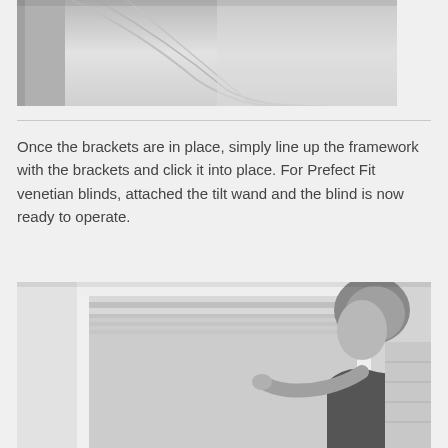[Figure (photo): Grayscale photo showing a close-up of window blinds or window frame area, partially cropped at top of page]
Once the brackets are in place, simply line up the framework with the brackets and click it into place. For Prefect Fit venetian blinds, attached the tilt wand and the blind is now ready to operate.
[Figure (photo): Grayscale photo of a woman installing or adjusting a Perfect Fit venetian blind on a window frame, viewed from the side]